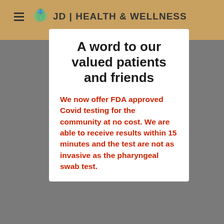[Figure (logo): JD Health & Wellness logo with hamburger menu icon and leaf/hands graphic]
A word to our valued patients and friends
We now offer FDA approved Covid testing for the community at no cost. We are able to receive results within 15 minutes and the test are not as invasive as the pharyngeal swab test.